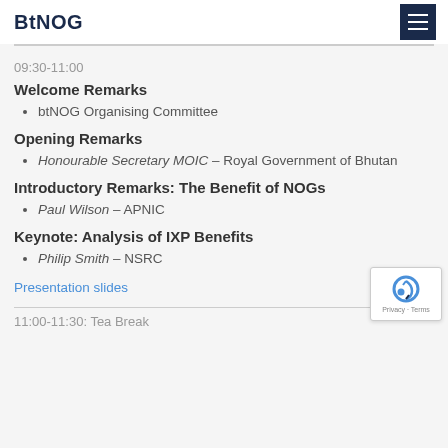BtNOG
09:30-11:00
Welcome Remarks
btNOG Organising Committee
Opening Remarks
Honourable Secretary MOIC – Royal Government of Bhutan
Introductory Remarks: The Benefit of NOGs
Paul Wilson – APNIC
Keynote: Analysis of IXP Benefits
Philip Smith – NSRC
Presentation slides
11:00-11:30: Tea Break